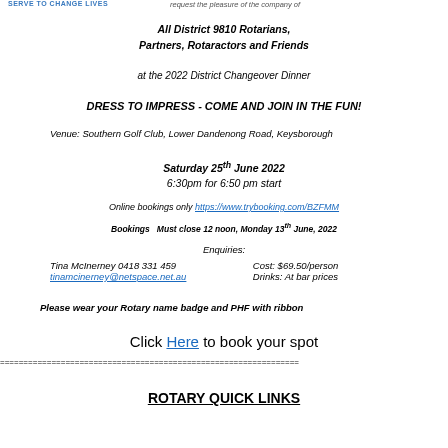SERVE TO CHANGE LIVES
request the pleasure of the company of
All District 9810 Rotarians,
Partners, Rotaractors and Friends
at the 2022 District Changeover Dinner
DRESS TO IMPRESS - COME AND JOIN IN THE FUN!
Venue: Southern Golf Club, Lower Dandenong Road, Keysborough
Saturday 25th June 2022
6:30pm for 6:50 pm start
Online bookings only https://www.trybooking.com/BZFMM
Bookings Must close 12 noon, Monday 13th June, 2022
Enquiries:
Tina McInerney 0418 331 459
tinamcinerney@netspace.net.au
Cost: $69.50/person
Drinks: At bar prices
Please wear your Rotary name badge and PHF with ribbon
Click Here to book your spot
============================================================
ROTARY QUICK LINKS